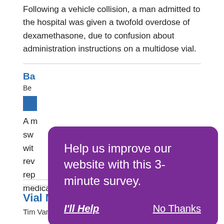Following a vehicle collision, a man admitted to the hospital was given a twofold overdose of dexamethasone, due to confusion about administration instructions on a multidose vial.
Ba...
Be...
A m... sw... an wit... rev... rep... medication.
[Figure (screenshot): Purple modal dialog overlay with text 'Help us improve our website with this 3-minute survey.' and two buttons: 'I'll Help' and 'No Thanks']
Vial Mistakes Involving Heparin
Tim Vanderveen, PharmD, MS | May 1, 2009